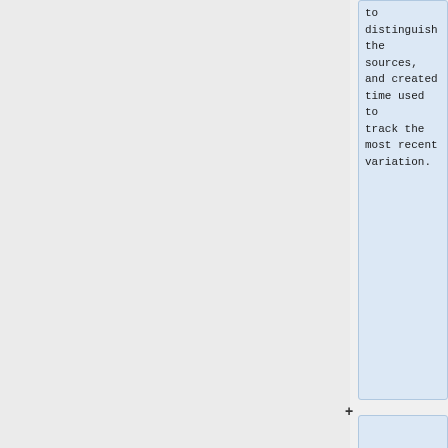to distinguish the sources, and created time used to track the most recent variation.
'''Pros:'''
* Easier to download updates to FPR rules, especially from more than one source
* Can